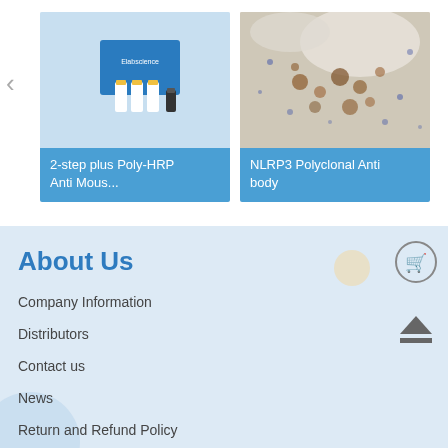[Figure (photo): Product card: 2-step plus Poly-HRP Anti Mous... - shows lab reagent bottles on blue background with Elabscience branding]
[Figure (photo): Product card: NLRP3 Polyclonal Antibody - shows microscopy tissue staining image with brown/blue cells]
About Us
Company Information
Distributors
Contact us
News
Return and Refund Policy